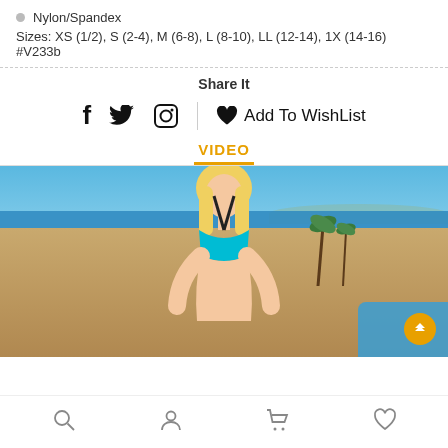Nylon/Spandex
Sizes: XS (1/2), S (2-4), M (6-8), L (8-10), LL (12-14), 1X (14-16) #V233b
Share It
f  🐦  ⭕  |  ♥ Add To WishList
VIDEO
[Figure (photo): Woman in teal/turquoise bikini top standing on a beach with blue sky, ocean, sand, palm trees, and a pool visible in the background.]
Search  Profile  Cart  Wishlist